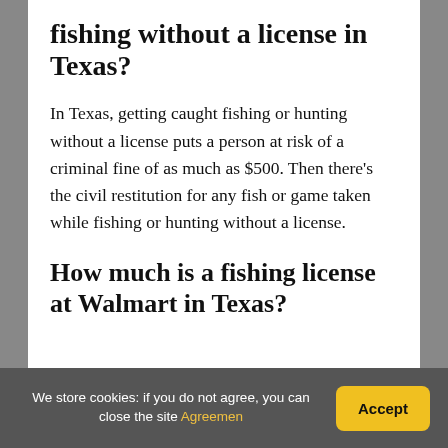fishing without a license in Texas?
In Texas, getting caught fishing or hunting without a license puts a person at risk of a criminal fine of as much as $500. Then there's the civil restitution for any fish or game taken while fishing or hunting without a license.
How much is a fishing license at Walmart in Texas?
We store cookies: if you do not agree, you can close the site Agreemen